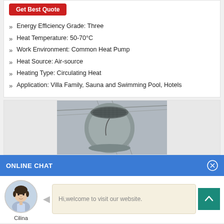Energy Efficiency Grade: Three
Heat Temperature: 50-70°C
Work Environment: Common Heat Pump
Heat Source: Air-source
Heating Type: Circulating Heat
Application: Villa Family, Sauna and Swimming Pool, Hotels
[Figure (photo): Photo of a large cylindrical heat pump unit installed in an industrial or warehouse space, viewed from below looking up.]
ONLINE CHAT
[Figure (photo): Avatar photo of a young woman named Cilina, customer service representative]
Hi,welcome to visit our website.
Cilina